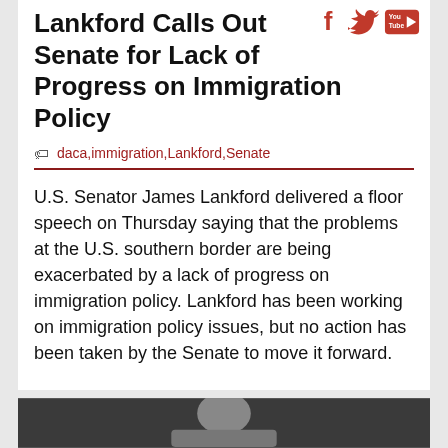Lankford Calls Out Senate for Lack of Progress on Immigration Policy
daca,immigration,Lankford,Senate
U.S. Senator James Lankford delivered a floor speech on Thursday saying that the problems at the U.S. southern border are being exacerbated by a lack of progress on immigration policy. Lankford has been working on immigration policy issues, but no action has been taken by the Senate to move it forward.
[Figure (photo): Photo of a man (Senator Lankford) seated, shot from chest up, dark background]